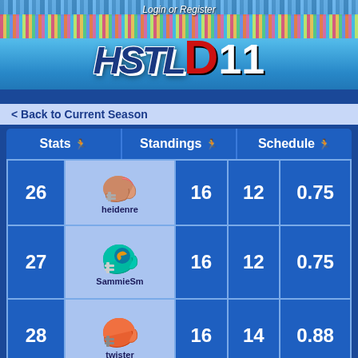[Figure (screenshot): HSTL D11 sports league website header with stadium crowd background, Login or Register text, HSTL D11 logo]
Login or Register
< Back to Current Season
| Stats | Standings | Schedule |
| --- | --- | --- |
| 26 | heidenre | 16 | 12 | 0.75 |
| 27 | SammieSm | 16 | 12 | 0.75 |
| 28 | twister | 16 | 14 | 0.88 |
| Total |  | 444 | 216 | 0.49 |
4th DOWN STOPS/G